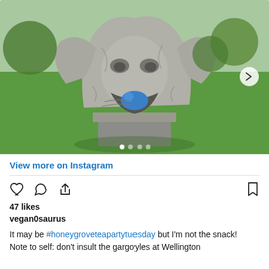[Figure (photo): Stone gargoyle sculpture outdoors on a pedestal, with a small blue stuffed animal/toy placed in its open mouth. Green grass and trees visible in background. Sunny day. Navigation arrow visible on right side. Carousel dots at bottom.]
View more on Instagram
47 likes
vegan0saurus
It may be #honeygroveteapartytuesday but I'm not the snack!
Note to self: don't insult the gargoyles at Wellington